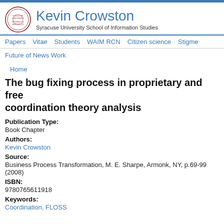Kevin Crowston — Syracuse University School of Information Studies
Papers | Vitae | Students | WAIM RCN | Citizen science | Stigme
Future of News Work
Home
The bug fixing process in proprietary and free coordination theory analysis
Publication Type:
Book Chapter
Authors:
Kevin Crowston
Source:
Business Process Transformation, M. E. Sharpe, Armonk, NY, p.69-99 (2008)
ISBN:
9780765611918
Keywords:
Coordination, FLOSS